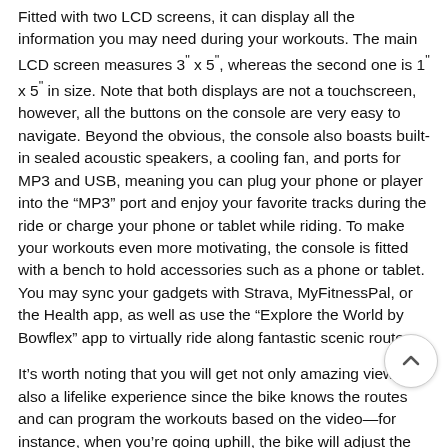Fitted with two LCD screens, it can display all the information you may need during your workouts. The main LCD screen measures 3" x 5", whereas the second one is 1" x 5" in size. Note that both displays are not a touchscreen, however, all the buttons on the console are very easy to navigate. Beyond the obvious, the console also boasts built-in sealed acoustic speakers, a cooling fan, and ports for MP3 and USB, meaning you can plug your phone or player into the "MP3" port and enjoy your favorite tracks during the ride or charge your phone or tablet while riding. To make your workouts even more motivating, the console is fitted with a bench to hold accessories such as a phone or tablet. You may sync your gadgets with Strava, MyFitnessPal, or the Health app, as well as use the “Explore the World by Bowflex” app to virtually ride along fantastic scenic routes.
It’s worth noting that you will get not only amazing views but also a lifelike experience since the bike knows the routes and can program the workouts based on the video—for instance, when you’re going uphill, the bike will adjust the resistance consequently. Plus, since this exercise bike is featured wi… Bluetooth, you can set, track, and monitor your progress … app-based tracking while riding. This is something that competitors rarely offer.
Overall, this recumbent bike includes 25 levels of resistance and 29 preset programs to get your heart rate up and calories…